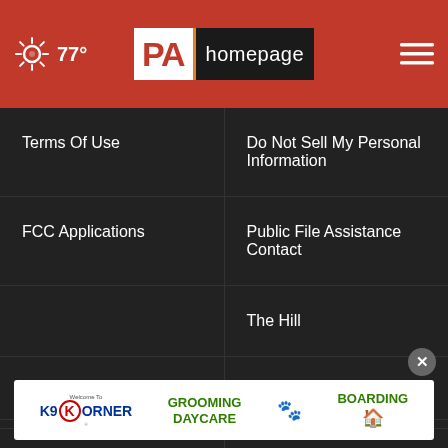77° PA homepage
Terms Of Use
Do Not Sell My Personal Information
FCC Applications
Public File Assistance Contact
The Hill
NewsNation
BestReviews
Content Licensing
Nexstar Digital
© 1998 - 2022 Nexstar Media Inc. | All Rights Reserved.
[Figure (photo): K9 Korner advertisement for grooming, boarding, and daycare services]